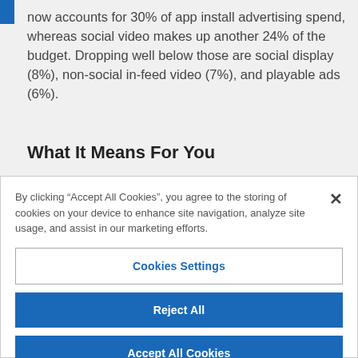now accounts for 30% of app install advertising spend, whereas social video makes up another 24% of the budget. Dropping well below those are social display (8%), non-social in-feed video (7%), and playable ads (6%).
What It Means For You
By clicking “Accept All Cookies”, you agree to the storing of cookies on your device to enhance site navigation, analyze site usage, and assist in our marketing efforts.
Cookies Settings
Reject All
Accept All Cookies